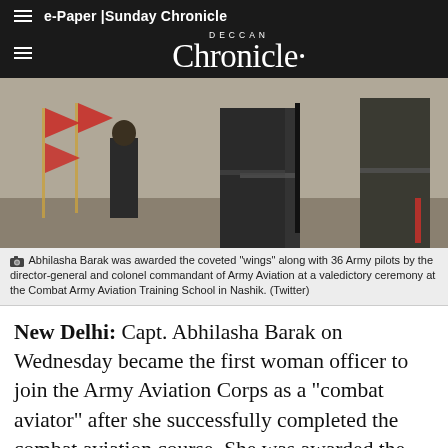e-Paper | Sunday Chronicle
DECCAN Chronicle
[Figure (photo): Military personnel in uniform standing at attention, with flags in the background at the Combat Army Aviation Training School.]
Abhilasha Barak was awarded the coveted "wings" along with 36 Army pilots by the director-general and colonel commandant of Army Aviation at a valedictory ceremony at the Combat Army Aviation Training School in Nashik. (Twitter)
New Delhi: Capt. Abhilasha Barak on Wednesday became the first woman officer to join the Army Aviation Corps as a "combat aviator" after she successfully completed the combat aviation course. She was awarded the coveted "wings" along with Army pilots by the director-general and colonel commandant of Army Aviation at a valedictory ceremony at the Combat Army Aviation Training